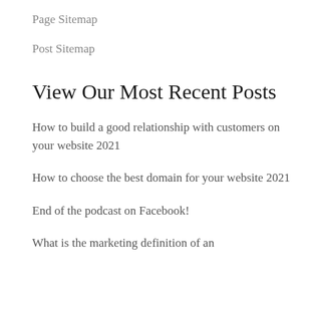Page Sitemap
Post Sitemap
View Our Most Recent Posts
How to build a good relationship with customers on your website 2021
How to choose the best domain for your website 2021
End of the podcast on Facebook!
What is the marketing definition of an